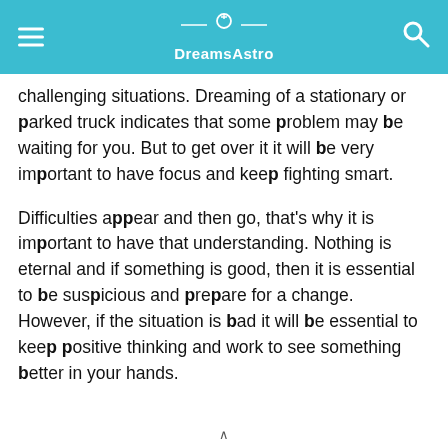DreamsAstro
challenging situations. Dreaming of a stationary or parked truck indicates that some problem may be waiting for you. But to get over it it will be very important to have focus and keep fighting smart.
Difficulties appear and then go, that's why it is important to have that understanding. Nothing is eternal and if something is good, then it is essential to be suspicious and prepare for a change. However, if the situation is bad it will be essential to keep positive thinking and work to see something better in your hands.